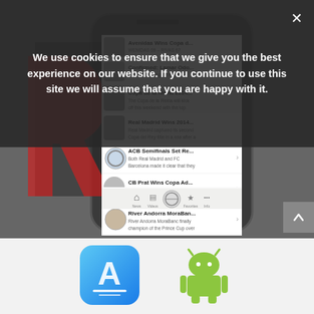[Figure (screenshot): Screenshot of a mobile app showing basketball news items including ACB Semifinals, CB Prat Wins Copa Ad, and River Andorra MoraBan articles, with app navigation bar at bottom]
We use cookies to ensure that we give you the best experience on our website. If you continue to use this site we will assume that you are happy with it.
[Figure (logo): Apple App Store logo icon (blue gradient with A symbol)]
[Figure (logo): Android robot logo icon (green)]